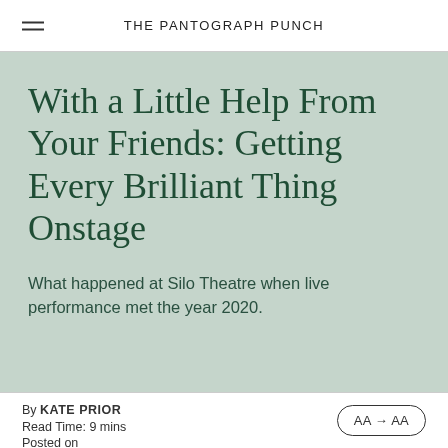THE PANTOGRAPH PUNCH
With a Little Help From Your Friends: Getting Every Brilliant Thing Onstage
What happened at Silo Theatre when live performance met the year 2020.
By KATE PRIOR
Read Time: 9 mins
AA → AA
Posted on